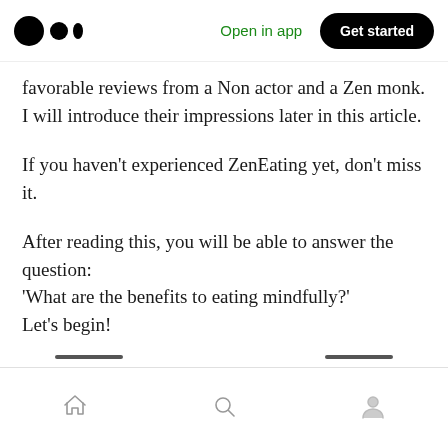Medium logo | Open in app | Get started
favorable reviews from a Non actor and a Zen monk.
I will introduce their impressions later in this article.
If you haven’t experienced ZenEating yet, don’t miss it.
After reading this, you will be able to answer the question:
‘What are the benefits to eating mindfully?’
Let’s begin!
Bottom navigation bar: Home, Search, Profile